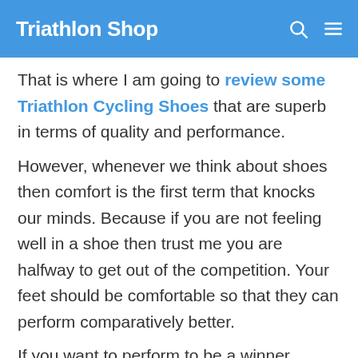Triathlon Shop
That is where I am going to review some Triathlon Cycling Shoes that are superb in terms of quality and performance. However, whenever we think about shoes then comfort is the first term that knocks our minds. Because if you are not feeling well in a shoe then trust me you are halfway to get out of the competition. Your feet should be comfortable so that they can perform comparatively better.
If you want to perform to be a winner